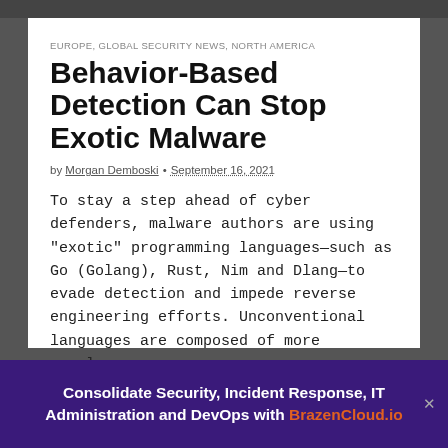EUROPE, GLOBAL SECURITY NEWS, NORTH AMERICA
Behavior-Based Detection Can Stop Exotic Malware
by Morgan Demboski • September 16, 2021
To stay a step ahead of cyber defenders, malware authors are using "exotic" programming languages—such as Go (Golang), Rust, Nim and Dlang—to evade detection and impede reverse engineering efforts. Unconventional languages are composed of more complex...
Read more →
Consolidate Security, Incident Response, IT Administration and DevOps with BrazenCloud.io